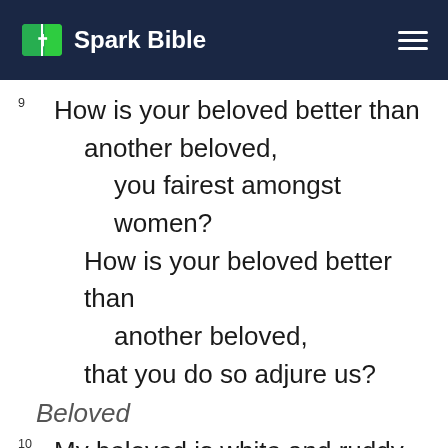Spark Bible
9 How is your beloved better than another beloved, you fairest amongst women? How is your beloved better than another beloved, that you do so adjure us?
Beloved
10 My beloved is white and ruddy. The best amongst ten thousand.
11 His head is like the purest gold.